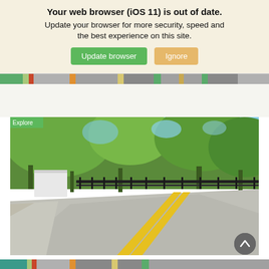Your web browser (iOS 11) is out of date.
Update your browser for more security, speed and the best experience on this site.
Update browser   Ignore
[Figure (photo): Street view photo showing a curved road with yellow center lines, surrounded by green trees and a black fence, with a white wall/gate visible on the left side. Blue sky visible through the trees.]
[Figure (illustration): Scroll-to-top button (circular grey button with upward chevron arrow)]